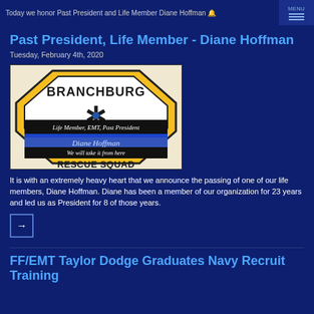Today we honor Past President and Life Member Diane Hoffman 🔔
Past President, Life Member - Diane Hoffman
Tuesday, February 4th, 2020
[Figure (photo): Branchburg Rescue Squad logo/memorial badge for Diane Hoffman, Life Member, EMT, Past President with text 'We will take it from here']
It is with an extremely heavy heart that we announce the passing of one of our life members, Diane Hoffman. Diane has been a member of our organization for 23 years and led us as President for 8 of those years.
FF/EMT Taylor Dodge Graduates Navy Recruit Training